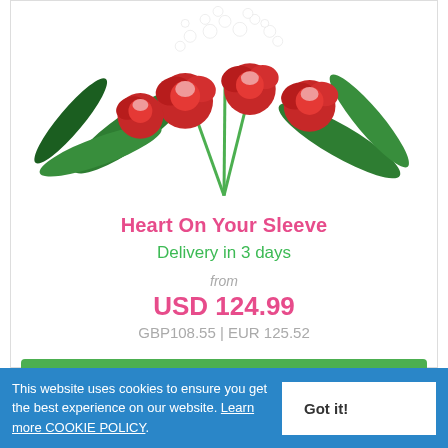[Figure (photo): Red roses bouquet with white baby's breath flowers and green fern leaves]
Heart On Your Sleeve
Delivery in 3 days
from
USD 124.99
GBP108.55 | EUR 125.52
DETAILS / BUY NOW
This website uses cookies to ensure you get the best experience on our website. Learn more COOKIE POLICY.
Got it!